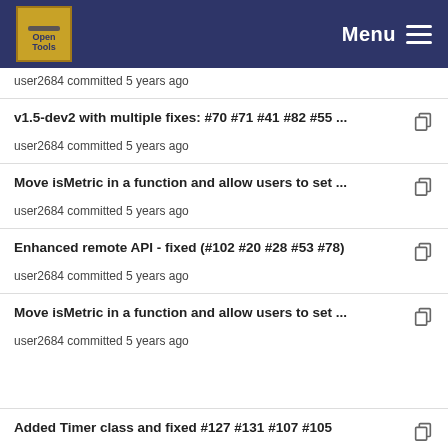Menu
user2684 committed 5 years ago
v1.5-dev2 with multiple fixes: #70 #71 #41 #82 #55 ...
user2684 committed 5 years ago
Move isMetric in a function and allow users to set ...
user2684 committed 5 years ago
Enhanced remote API - fixed (#102 #20 #28 #53 #78)
user2684 committed 5 years ago
Move isMetric in a function and allow users to set ...
user2684 committed 5 years ago
Added Timer class and fixed #127 #131 #107 #105
user2684 committed 5 years ago
Enhanced remote API - fixed (#102 #20 #28 #53 #78)
user2684 committed 5 years ago